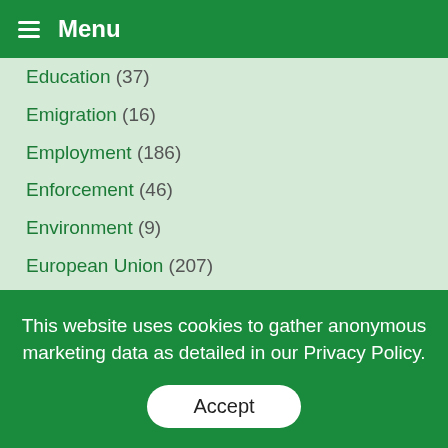Menu
Education (37)
Emigration (16)
Employment (186)
Enforcement (46)
Environment (9)
European Union (207)
Family (19)
Health (42)
History (34)
Housing (80)
Human Rights (37)
International Students (6)
Legal Matters (125)
Migration Advisory Committee (22)
Other News and Statistics (61)
Policy (269)
Population (254)
Refugees (58)
This website uses cookies to gather anonymous marketing data as detailed in our Privacy Policy.